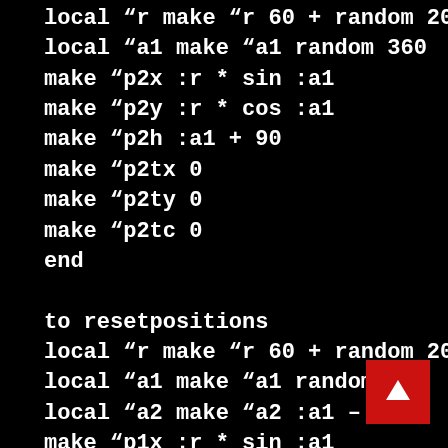local “r make “r 60 + random 20
local “a1 make “a1 random 360
make “p2x :r * sin :a1
make “p2y :r * cos :a1
make “p2h :a1 + 90
make “p2tx 0
make “p2ty 0
make “p2tc 0
end

to resetpositions
local “r make “r 60 + random 20
local “a1 make “a1 random 360
local “a2 make “a2 :a1 – 180
make “p1x :r * sin :a1
make “p1y :r * cos :a1
[Figure (other): Back to top button - red square with white upward arrow]